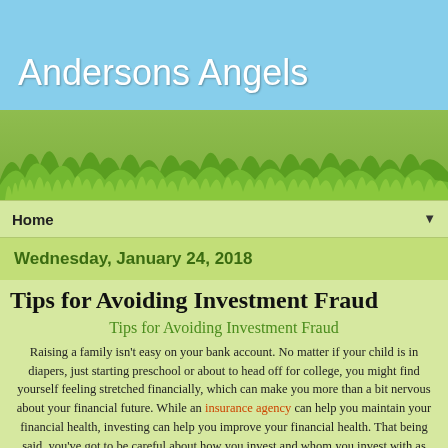Andersons Angels
Home
Wednesday, January 24, 2018
Tips for Avoiding Investment Fraud
Tips for Avoiding Investment Fraud
Raising a family isn’t easy on your bank account. No matter if your child is in diapers, just starting preschool or about to head off for college, you might find yourself feeling stretched financially, which can make you more than a bit nervous about your financial future. While an insurance agency can help you maintain your financial health, investing can help you improve your financial health. That being said, you’ve got to be careful about how you invest and whom you invest with as well.